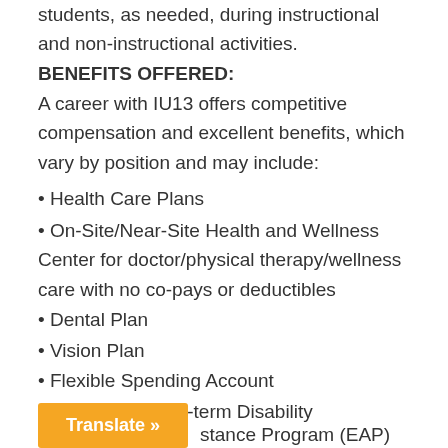Provide educational support and management of students, as needed, during instructional and non-instructional activities.
BENEFITS OFFERED:
A career with IU13 offers competitive compensation and excellent benefits, which vary by position and may include:
• Health Care Plans
• On-Site/Near-Site Health and Wellness Center for doctor/physical therapy/wellness care with no co-pays or deductibles
• Dental Plan
• Vision Plan
• Flexible Spending Account
• Short-term/Long-term Disability
Translate »
stance Program (EAP)